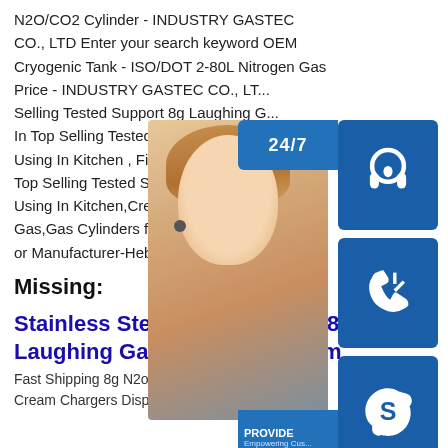N2O/CO2 Cylinder - INDUSTRY GASTEC CO., LTD Enter your search keyword OEM Cryogenic Tank - ISO/DOT 2-80L Nitrogen Gas Price - INDUSTRY GASTEC CO., LT... Selling Tested Support 8g Laughing G... In Top Selling Tested Support 8g Lau... Using In Kitchen , Find Complete Det... Top Selling Tested Support 8g Laughi... Using In Kitchen,Cream Chargers,Lau... Gas,Gas Cylinders from Dessert Tools... or Manufacturer-Hebei
Missing:
Stainless Steel Fast Shipping 8g N2o Laughing Gas Whipping Cream
Fast Shipping 8g N2o Laughing Gas Whipping Cream Chargers Dispenser Nitrous Oxide , Find
[Figure (infographic): Customer service chat widget overlay on right side of page, showing: 24/7 label in blue, headset customer service icon in dark blue box, phone icon in dark blue box, Skype icon in dark blue box, PROVIDE Empowering Cus... text box, online live orange text button, scroll-up arrow circle. Background shows a woman with headset.]